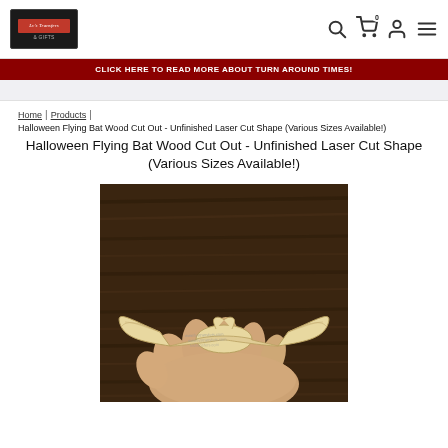Lv's Transfers & Gifts - navigation header with logo, search, cart (0), account, and menu icons
CLICK HERE TO READ MORE ABOUT TURN AROUND TIMES!
Home | Products | Halloween Flying Bat Wood Cut Out - Unfinished Laser Cut Shape (Various Sizes Available!)
Halloween Flying Bat Wood Cut Out - Unfinished Laser Cut Shape (Various Sizes Available!)
[Figure (photo): A hand holding a small laser-cut wooden bat shape with wing spread, displayed against a dark wood background. The bat shape has text printed on it.]